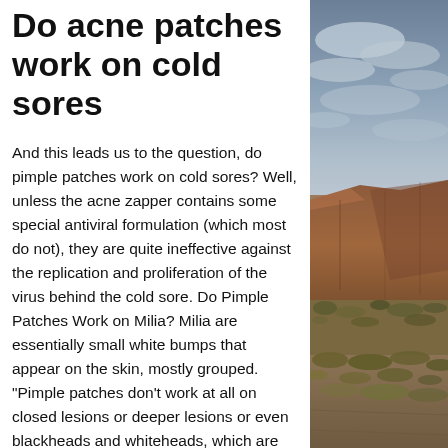Do acne patches work on cold sores
And this leads us to the question, do pimple patches work on cold sores? Well, unless the acne zapper contains some special antiviral formulation (which most do not), they are quite ineffective against the replication and proliferation of the virus behind the cold sore. Do Pimple Patches Work on Milia? Milia are essentially small white bumps that appear on the skin, mostly grouped. "Pimple patches don't work at all on closed lesions or deeper lesions or even blackheads and whiteheads, which are called comedones," Dr. Kassouf explains. "They are spots treatments for active bumps and have no ability to prevent acne from coming," nor can they clear clogged pores or other precursors to acne flares." Acne patches seem like a good tool
[Figure (photo): Outdoor landscape photo showing a desert canyon scene with red rock formations, scrubby vegetation, and a dramatic cloudy sky, viewed from a high vantage point. Colors include grey-blue sky, brown and reddish rock, and muted green-brown vegetation.]